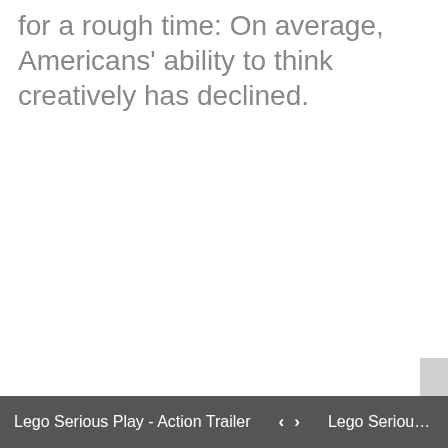for a rough time: On average, Americans' ability to think creatively has declined.
Lego Serious Play - Action Trailer  < >  Lego Serious Play Photo Transcr...